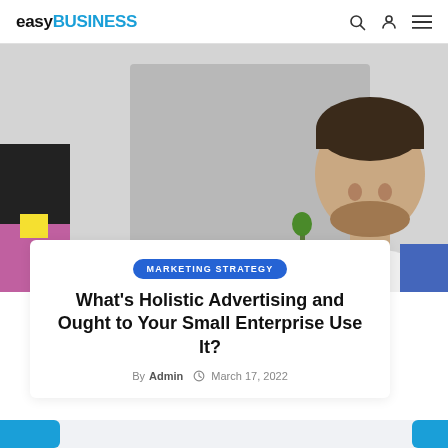easy BUSINESS
[Figure (photo): A smiling young man with beard in a white shirt against a light grey wall background, with another person partially visible at left edge.]
MARKETING STRATEGY
What's Holistic Advertising and Ought to Your Small Enterprise Use It?
By Admin  March 17, 2022